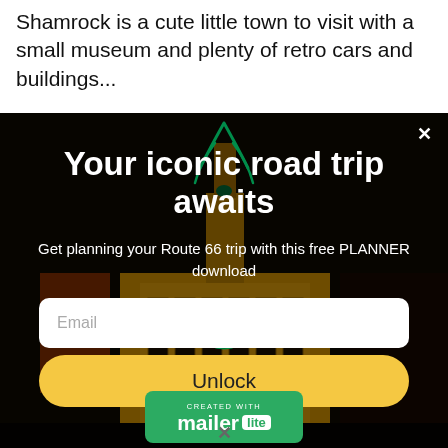Shamrock is a cute little town to visit with a small museum and plenty of retro cars and buildings...
[Figure (screenshot): A modal popup overlay on a webpage showing a Route 66 promotional newsletter signup. Dark night-time photo of an illuminated art deco building with green neon lights in background. Modal contains headline 'Your iconic road trip awaits', subtitle text, email input field, and yellow Unlock button. A MailerLite badge appears at bottom.]
Your iconic road trip awaits
Get planning your Route 66 trip with this free PLANNER download
Email
Unlock
CREATED WITH mailer lite